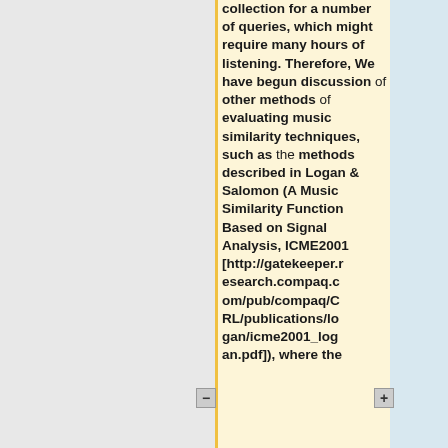collection for a number of queries, which might require many hours of listening. Therefore, We have begun discussion of other methods of evaluating music similarity techniques, such as the methods described in Logan & Salomon (A Music Similarity Function Based on Signal Analysis, ICME2001 [http://gatekeeper.research.compaq.com/pub/compaq/CRL/publications/logan/icme2001_logan.pdf]), where the